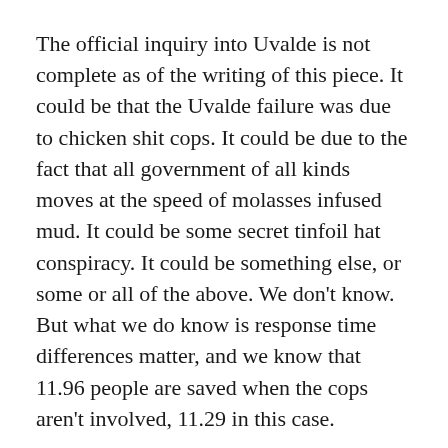The official inquiry into Uvalde is not complete as of the writing of this piece. It could be that the Uvalde failure was due to chicken shit cops. It could be due to the fact that all government of all kinds moves at the speed of molasses infused mud. It could be some secret tinfoil hat conspiracy. It could be something else, or some or all of the above. We don't know. But what we do know is response time differences matter, and we know that 11.96 people are saved when the cops aren't involved, 11.29 in this case.
I am not someone who lives in fear of rampage shootings. I understand the statistics, which show that these things are as rare as shark attacks, and I do not live in fear of sharks. But